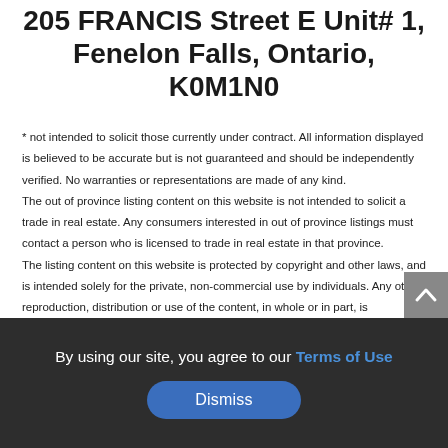205 FRANCIS Street E Unit# 1, Fenelon Falls, Ontario, K0M1N0
* not intended to solicit those currently under contract. All information displayed is believed to be accurate but is not guaranteed and should be independently verified. No warranties or representations are made of any kind. The out of province listing content on this website is not intended to solicit a trade in real estate. Any consumers interested in out of province listings must contact a person who is licensed to trade in real estate in that province. The listing content on this website is protected by copyright and other laws, and is intended solely for the private, non-commercial use by individuals. Any other reproduction, distribution or use of the content, in whole or in part, is specifically forbidden. The prohibited uses include commercial use, "screen scraping", "database scraping", and any other activity intended to collect, store, reorganize
By using our site, you agree to our Terms of Use
Dismiss